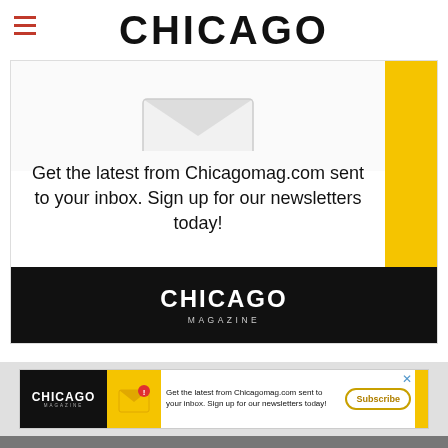CHICAGO
[Figure (infographic): Chicago Magazine newsletter signup advertisement banner. Large white area with envelope icon graphic, text 'Get the latest from Chicagomag.com sent to your inbox. Sign up for our newsletters today!', yellow vertical bar on right, black bottom bar with CHICAGO MAGAZINE logo in white.]
[Figure (infographic): Smaller Chicago Magazine newsletter signup ad banner with black left panel showing CHICAGO MAGAZINE logo, yellow envelope icon with notification badge, text 'Get the latest from Chicagomag.com sent to your inbox. Sign up for our newsletters today!', Subscribe button with gold border, yellow right bar, and X close button.]
SUBSCRIBE
ABOUT THE MAGAZINE
MANAGE SUBSCRIPTION
CONTACT US